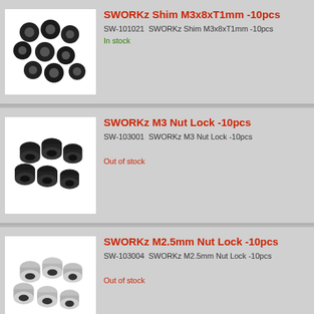[Figure (photo): Black shim washers M3x8xT1mm, approximately 10 pieces scattered on white background]
SWORKz Shim M3x8xT1mm -10pcs
SW-101021  SWORKz Shim M3x8xT1mm -10pcs
In stock
[Figure (photo): Black M3 nylon lock nuts, approximately 10 pieces on white background]
SWORKz M3 Nut Lock -10pcs
SW-103001  SWORKz M3 Nut Lock -10pcs
Out of stock
[Figure (photo): Silver/chrome M2.5mm nylon lock nuts, approximately 10 pieces on white background]
SWORKz M2.5mm Nut Lock -10pcs
SW-103004  SWORKz M2.5mm Nut Lock -10pcs
Out of stock
[Figure (photo): Partial view of next product image]
SWORKz M3x3mm Grub / Set Screw...